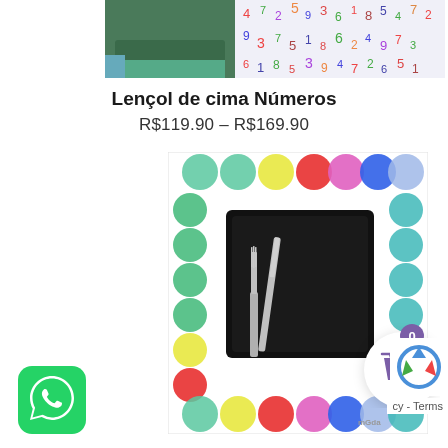[Figure (photo): Top portion showing two product images: left shows a bed with blue/teal bedding and toys, right shows a white sheet with colorful numbers pattern]
Lençol de cima Números
R$119.90 – R$169.90
[Figure (photo): A colorful placemat with polka dots pattern (green, yellow, red, pink, blue, purple, teal circles on white background) with a black square plate and silverware (fork and knife) on top. Brand logo 'mGda' visible in bottom right corner.]
[Figure (photo): WhatsApp button - green rounded square icon with white phone handset]
[Figure (other): Shopping cart button - purple basket icon in white circular button with badge showing 0]
[Figure (other): reCAPTCHA logo]
cy - Terms